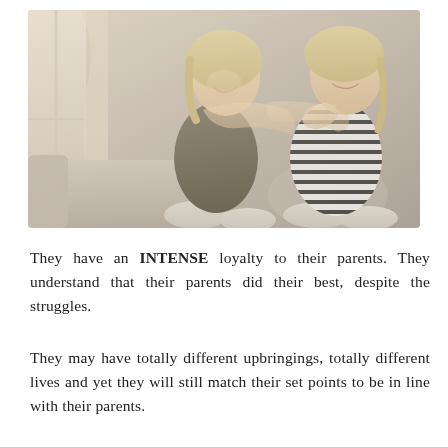[Figure (photo): Two women sitting together on a sofa in a warm indoor setting. A younger blonde woman hugs an older blonde woman from behind, both smiling warmly. Light comes from a window on the left side.]
They have an INTENSE loyalty to their parents. They understand that their parents did their best, despite the struggles.
They may have totally different upbringings, totally different lives and yet they will still match their set points to be in line with their parents.